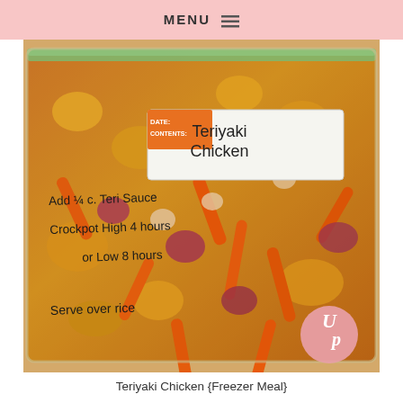MENU
[Figure (photo): A zip-lock freezer bag filled with teriyaki chicken ingredients including carrots, onions, pineapple chunks, and peppers in sauce. A label reads 'Teriyaki Chicken' with handwritten instructions: 'Add 1/4 c. Teri Sauce, Crockpot High 4 hours or Low 8 hours, Serve over rice'. A pink circular logo with 'Up' is visible in the bottom right corner.]
Teriyaki Chicken {Freezer Meal}